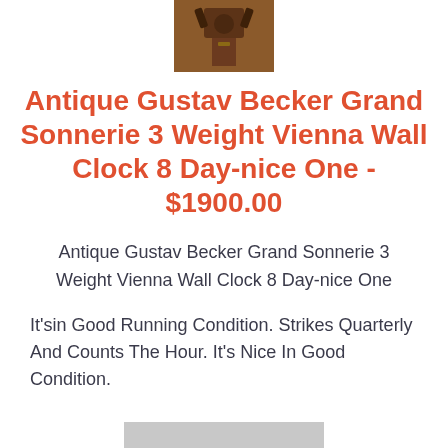[Figure (photo): Partial view of an antique Gustav Becker Vienna wall clock, dark wood with ornate top]
Antique Gustav Becker Grand Sonnerie 3 Weight Vienna Wall Clock 8 Day-nice One - $1900.00
Antique Gustav Becker Grand Sonnerie 3 Weight Vienna Wall Clock 8 Day-nice One
It'sin Good Running Condition. Strikes Quarterly And Counts The Hour. It's Nice In Good Condition.
[Figure (photo): Partial bottom image of the antique clock listing]